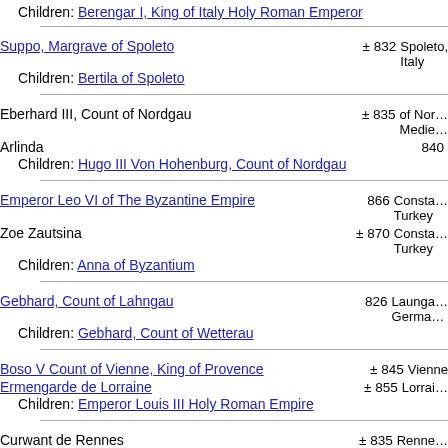Children: Berengar I, King of Italy Holy Roman Emperor
Suppo, Margrave of Spoleto ± 832 Spoleto, Italy
Children: Bertila of Spoleto
Eberhard III, Count of Nordgau ± 835 of Nordgau, Medieval
Arlinda 840
Children: Hugo III Von Hohenburg, Count of Nordgau
Emperor Leo VI of The Byzantine Empire 866 Constantinople, Turkey
Zoe Zautsina ± 870 Constantinople, Turkey
Children: Anna of Byzantium
Gebhard, Count of Lahngau 826 Laungau, Germany
Children: Gebhard, Count of Wetterau
Boso V Count of Vienne, King of Provence ± 845 Vienne
Ermengarde de Lorraine ± 855 Lorraine
Children: Emperor Louis III Holy Roman Empire
Curwant de Rennes ± 835 Rennes